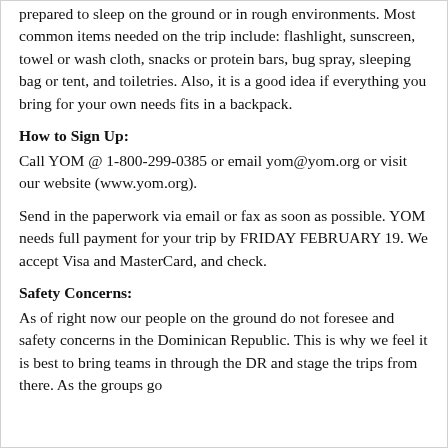prepared to sleep on the ground or in rough environments. Most common items needed on the trip include: flashlight, sunscreen, towel or wash cloth, snacks or protein bars, bug spray, sleeping bag or tent, and toiletries. Also, it is a good idea if everything you bring for your own needs fits in a backpack.
How to Sign Up:
Call YOM @ 1-800-299-0385 or email yom@yom.org or visit our website (www.yom.org).
Send in the paperwork via email or fax as soon as possible. YOM needs full payment for your trip by FRIDAY FEBRUARY 19. We accept Visa and MasterCard, and check.
Safety Concerns:
As of right now our people on the ground do not foresee and safety concerns in the Dominican Republic. This is why we feel it is best to bring teams in through the DR and stage the trips from there. As the groups go